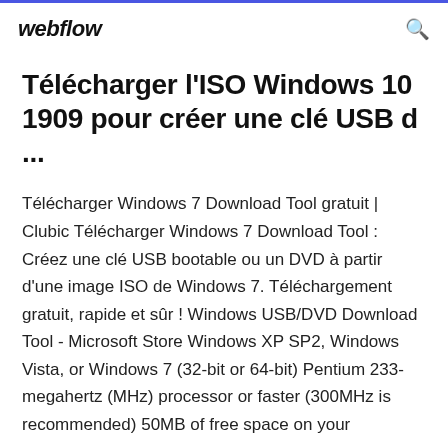webflow
Télécharger l'ISO Windows 10 1909 pour créer une clé USB d ...
Télécharger Windows 7 Download Tool gratuit | Clubic Télécharger Windows 7 Download Tool : Créez une clé USB bootable ou un DVD à partir d'une image ISO de Windows 7. Téléchargement gratuit, rapide et sûr ! Windows USB/DVD Download Tool - Microsoft Store Windows XP SP2, Windows Vista, or Windows 7 (32-bit or 64-bit) Pentium 233-megahertz (MHz) processor or faster (300MHz is recommended) 50MB of free space on your